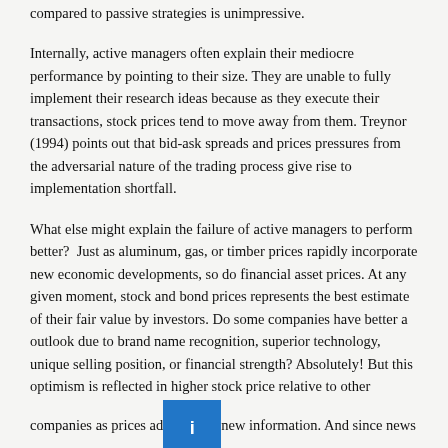compared to passive strategies is unimpressive.
Internally, active managers often explain their mediocre performance by pointing to their size. They are unable to fully implement their research ideas because as they execute their transactions, stock prices tend to move away from them. Treynor (1994) points out that bid-ask spreads and prices pressures from the adversarial nature of the trading process give rise to implementation shortfall.
What else might explain the failure of active managers to perform better?  Just as aluminum, gas, or timber prices rapidly incorporate new economic developments, so do financial asset prices. At any given moment, stock and bond prices represents the best estimate of their fair value by investors. Do some companies have better a outlook due to brand name recognition, superior technology, unique selling position, or financial strength? Absolutely! But this optimism is reflected in higher stock price relative to other companies as prices adjust to new information. And since news is unpredictable so are stock prices. The failure of active management to perform better is solid evidence that capital markets are functioning efficiently.